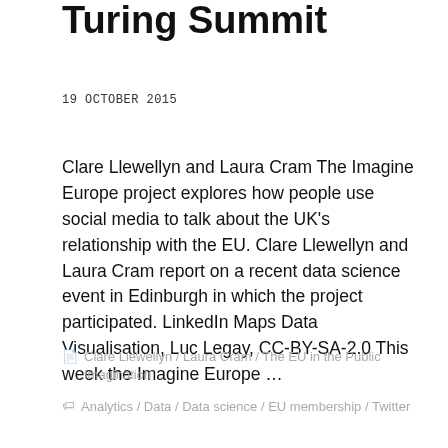Turing Summit
19 OCTOBER 2015
Clare Llewellyn and Laura Cram The Imagine Europe project explores how people use social media to talk about the UK's relationship with the EU. Clare Llewellyn and Laura Cram report on a recent data science event in Edinburgh in which the project participated. LinkedIn Maps Data Visualisation, Luc Legay, CC-BY-SA-2.0 This week the Imagine Europe …
Clare Llewellyn / Laura Cram / The EU in the Public Imagination
Analytics / Data / Data science / EU membership / Twitter